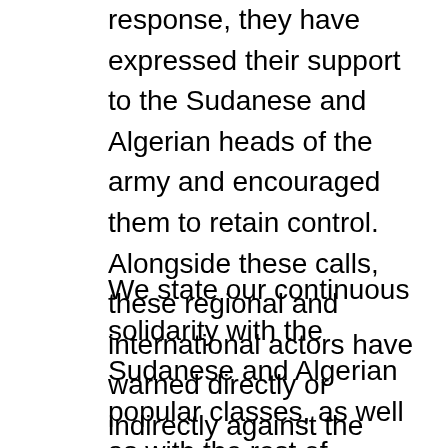response, they have expressed their support to the Sudanese and Algerian heads of the army and encouraged them to retain control. Alongside these calls, these regional and international actors have warned directly or indirectly against the continuation and deepening of the revolutionary process.
We state our continuous solidarity with the Sudanese and Algerian popular classes, as well as with the rest of region. Their struggles are an inspiration for all those fighting for the emancipation and liberation of the oppressed throughout the world.